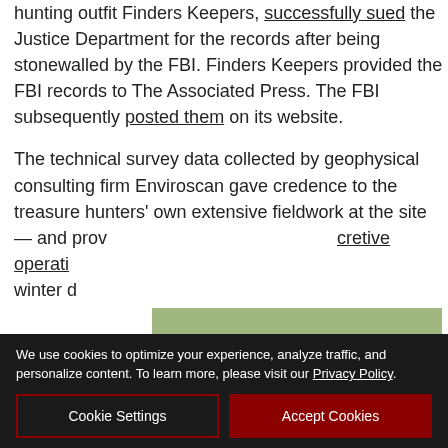hunting outfit Finders Keepers, successfully sued the Justice Department for the records after being stonewalled by the FBI. Finders Keepers provided the FBI records to The Associated Press. The FBI subsequently posted them on its website.
The technical survey data collected by geophysical consulting firm Enviroscan gave credence to the treasure hunters' own extensive fieldwork at the site — and pro[vided new details about the] secretive operati[ons...] winter d[...]
[Figure (photo): BayDay advertisement banner showing a person kayaking in a marsh/bay. Text overlay reads 'BayDay' in white italic script, and a blue box reads 'Celebrate 30 Days of the Bay, September 2 - October 1 | Free for Everyone']
We use cookies to optimize your experience, analyze traffic, and personalize content. To learn more, please visit our Privacy Policy.